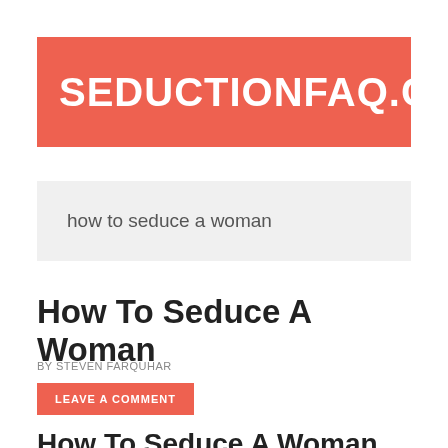[Figure (logo): SEDUCTIONFAQ.COM logo on coral/salmon red background with white bold uppercase text]
how to seduce a woman
How To Seduce A Woman
BY STEVEN FARQUHAR
LEAVE A COMMENT
How To Seduce A Woman